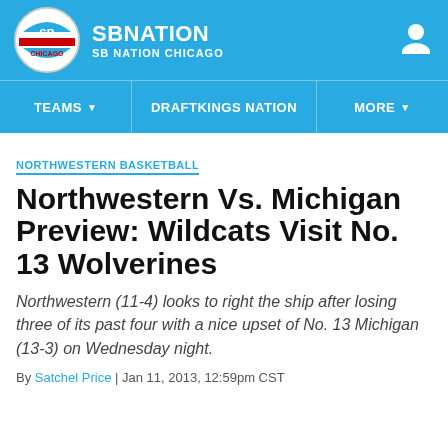SBNATION / SB NATION CHICAGO
TEAMS | DRAFTKINGS NATION | MORE
NORTHWESTERN BASKETBALL
Northwestern Vs. Michigan Preview: Wildcats Visit No. 13 Wolverines
Northwestern (11-4) looks to right the ship after losing three of its past four with a nice upset of No. 13 Michigan (13-3) on Wednesday night.
By Satchel Price | Jan 11, 2013, 12:59pm CST